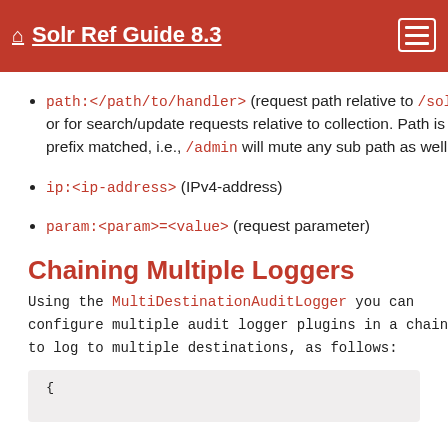Solr Ref Guide 8.3
path:</path/to/handler> (request path relative to /solr or for search/update requests relative to collection. Path is prefix matched, i.e., /admin will mute any sub path as well.
ip:<ip-address> (IPv4-address)
param:<param>=<value> (request parameter)
Chaining Multiple Loggers
Using the MultiDestinationAuditLogger you can configure multiple audit logger plugins in a chain, to log to multiple destinations, as follows:
[Figure (screenshot): Code block showing opening brace of JSON configuration]